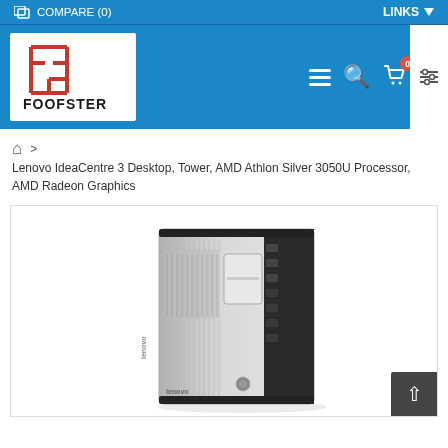COMPARE (0)   LINKS
[Figure (logo): Foofster logo - red stylized letters IF above text FOOFSTER on white background]
Lenovo IdeaCentre 3 Desktop, Tower, AMD Athlon Silver 3050U Processor, AMD Radeon Graphics
[Figure (photo): Lenovo IdeaCentre 3 Desktop tower computer, silver and black, shown at an angle]